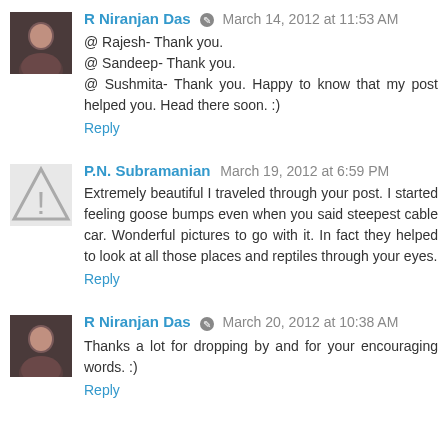R Niranjan Das   March 14, 2012 at 11:53 AM
@ Rajesh- Thank you.
@ Sandeep- Thank you.
@ Sushmita- Thank you. Happy to know that my post helped you. Head there soon. :)
Reply
P.N. Subramanian   March 19, 2012 at 6:59 PM
Extremely beautiful I traveled through your post. I started feeling goose bumps even when you said steepest cable car. Wonderful pictures to go with it. In fact they helped to look at all those places and reptiles through your eyes.
Reply
R Niranjan Das   March 20, 2012 at 10:38 AM
Thanks a lot for dropping by and for your encouraging words. :)
Reply